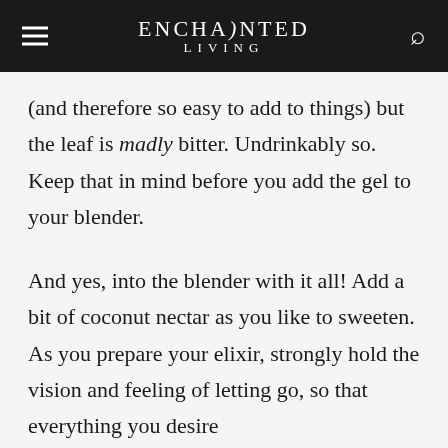ENCHANTED LIVING
(and therefore so easy to add to things) but the leaf is madly bitter. Undrinkably so. Keep that in mind before you add the gel to your blender.
And yes, into the blender with it all! Add a bit of coconut nectar as you like to sweeten. As you prepare your elixir, strongly hold the vision and feeling of letting go, so that everything you desire